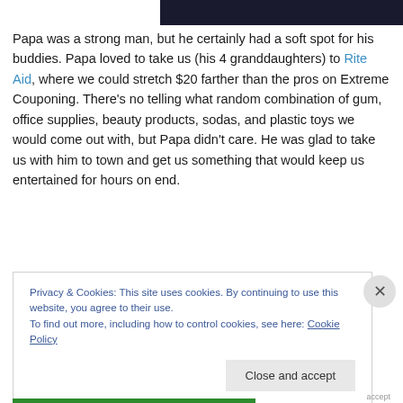[Figure (photo): Dark/black image bar at top of page, partial view of a photograph]
Papa was a strong man, but he certainly had a soft spot for his buddies. Papa loved to take us (his 4 granddaughters) to Rite Aid, where we could stretch $20 farther than the pros on Extreme Couponing. There's no telling what random combination of gum, office supplies, beauty products, sodas, and plastic toys we would come out with, but Papa didn't care. He was glad to take us with him to town and get us something that would keep us entertained for hours on end.
Privacy & Cookies: This site uses cookies. By continuing to use this website, you agree to their use.
To find out more, including how to control cookies, see here: Cookie Policy